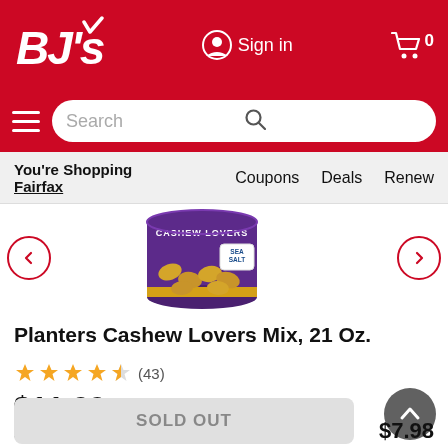[Figure (screenshot): BJ's Wholesale Club website header with red background, BJ's logo, Sign in button, cart icon with 0 badge, hamburger menu, and search bar]
You're Shopping Fairfax   Coupons   Deals   Renew
[Figure (photo): Planters Cashew Lovers Mix 21 oz can with sea salt label]
Planters Cashew Lovers Mix, 21 Oz.
★★★★½ (43)
$11.99
VIEW MORE
SOLD OUT
$7.98